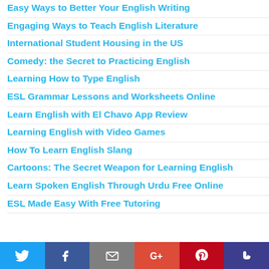Easy Ways to Better Your English Writing
Engaging Ways to Teach English Literature
International Student Housing in the US
Comedy: the Secret to Practicing English
Learning How to Type English
ESL Grammar Lessons and Worksheets Online
Learn English with El Chavo App Review
Learning English with Video Games
How To Learn English Slang
Cartoons: The Secret Weapon for Learning English
Learn Spoken English Through Urdu Free Online
ESL Made Easy With Free Tutoring